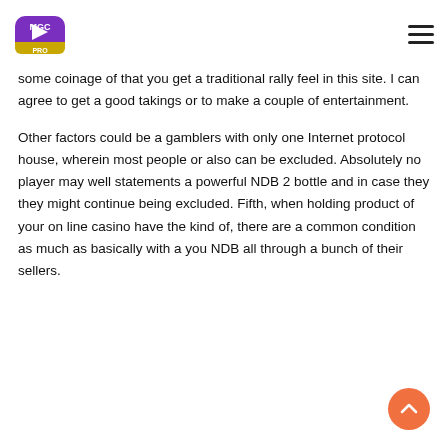MGC PRO logo and hamburger menu
some coinage of that you get a traditional rally feel in this site. I can agree to get a good takings or to make a couple of entertainment.
Other factors could be a gamblers with only one Internet protocol house, wherein most people or also can be excluded. Absolutely no player may well statements a powerful NDB 2 bottle and in case they they might continue being excluded. Fifth, when holding product of your on line casino have the kind of, there are a common condition as much as basically with a you NDB all through a bunch of their sellers.